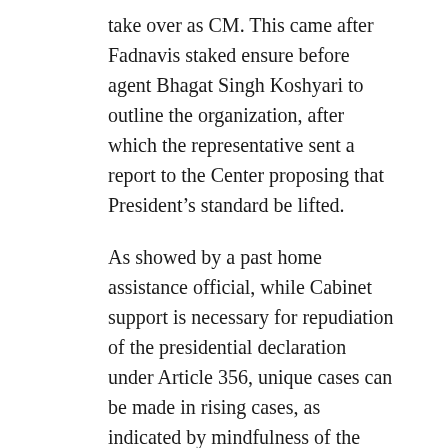take over as CM. This came after Fadnavis staked ensure before agent Bhagat Singh Koshyari to outline the organization, after which the representative sent a report to the Center proposing that President's standard be lifted.
As showed by a past home assistance official, while Cabinet support is necessary for repudiation of the presidential declaration under Article 356, unique cases can be made in rising cases, as indicated by mindfulness of the PM. “The Prime Minister takes the decision to assist the Cabinet, subject to ex post facto support, said the past MHA functionary. The gauges furthermore support the PM to change the Second Schedule.
SHARE